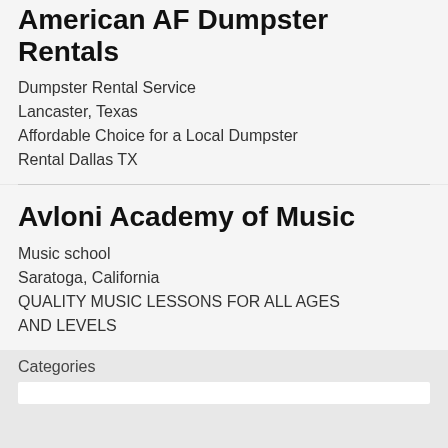American AF Dumpster Rentals
Dumpster Rental Service
Lancaster, Texas
Affordable Choice for a Local Dumpster Rental Dallas TX
Avloni Academy of Music
Music school
Saratoga, California
QUALITY MUSIC LESSONS FOR ALL AGES AND LEVELS
Categories